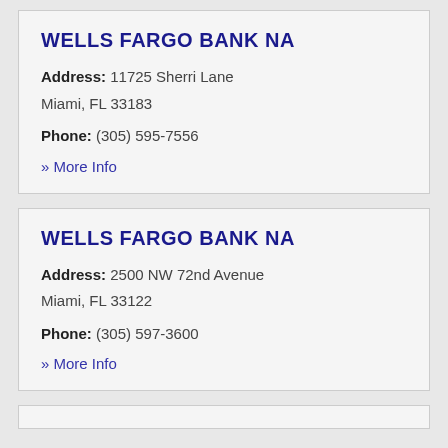WELLS FARGO BANK NA
Address: 11725 Sherri Lane
Miami, FL 33183
Phone: (305) 595-7556
» More Info
WELLS FARGO BANK NA
Address: 2500 NW 72nd Avenue
Miami, FL 33122
Phone: (305) 597-3600
» More Info